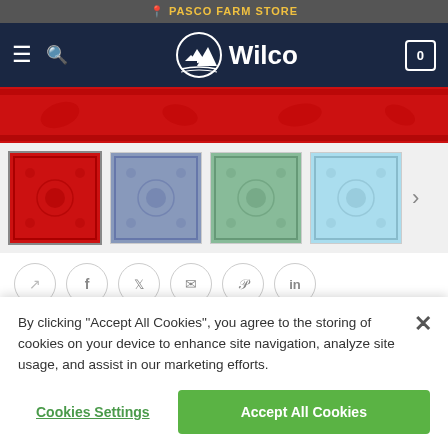PASCO FARM STORE
[Figure (logo): Wilco farm store logo with mountain/barn icon and shopping cart showing 0 items, on dark navy navigation bar with hamburger menu and search icon]
[Figure (photo): Red bandana product main image strip]
[Figure (photo): Four bandana color variant thumbnails: red, blue/grey, green, light blue, with a next arrow]
[Figure (infographic): Social sharing buttons row: share, Facebook, Twitter, email, Pinterest, LinkedIn]
By clicking “Accept All Cookies”, you agree to the storing of cookies on your device to enhance site navigation, analyze site usage, and assist in our marketing efforts.
Cookies Settings
Accept All Cookies